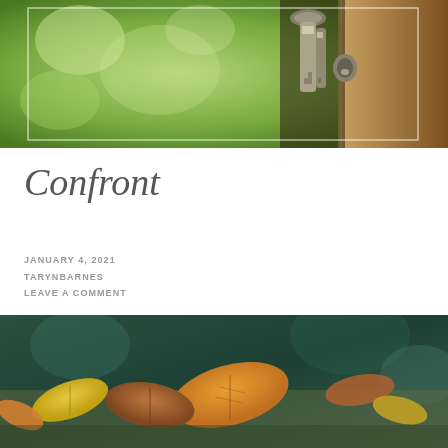[Figure (photo): Close-up photo of keys hanging in a door lock, with a blurred green outdoor background and a wooden door frame visible on the right.]
Confront
JANUARY 4, 2021
TARYNBARNES
LEAVE A COMMENT
[Figure (photo): Close-up photo of autumn leaves (yellow, orange, brown) scattered on a surface, with a dark teal/green blurred background.]